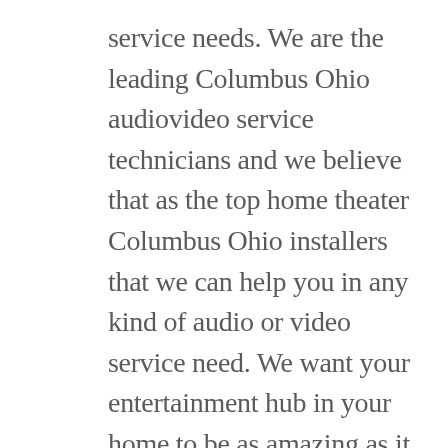service needs. We are the leading Columbus Ohio audiovideo service technicians and we believe that as the top home theater Columbus Ohio installers that we can help you in any kind of audio or video service need. We want your entertainment hub in your home to be as amazing as it possibly can be that is why we have the best equipment possible for your audio and video services and that is why we pride ourselves on being the top home theater comes Ohio installers today. We believe that your entertainment center which is